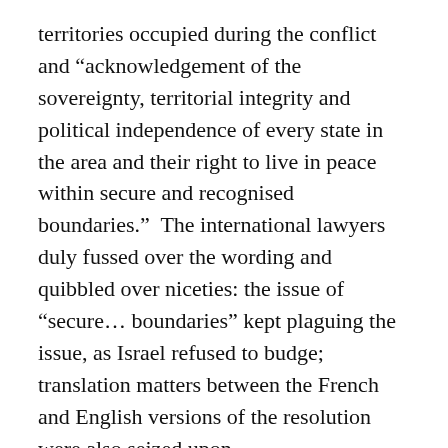territories occupied during the conflict and “acknowledgement of the sovereignty, territorial integrity and political independence of every state in the area and their right to live in peace within secure and recognised boundaries.”  The international lawyers duly fussed over the wording and quibbled over niceties: the issue of “secure… boundaries” kept plaguing the issue, as Israel refused to budge; translation matters between the French and English versions of the resolution were also seized upon.
No international body was going to stop the Israeli push to incorporate the heights and do what it has become so adept at doing: colonising it into new reality.  The Knesset showed its disdain in 1981 by adopting the Golan Heights Law, passed by 63 votes to 21, which effectively acknowledged that the law